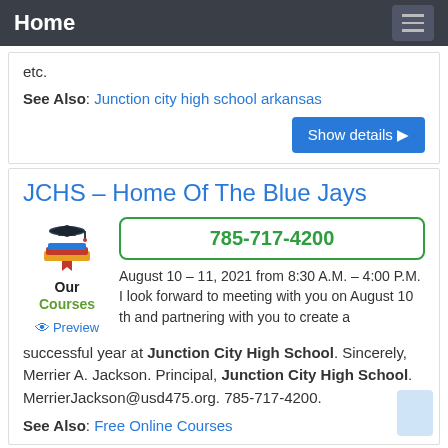Home
etc.
See Also: Junction city high school arkansas
Show details ▶
JCHS – Home Of The Blue Jays
785-717-4200
Our Courses
Preview
August 10 – 11, 2021 from 8:30 A.M. – 4:00 P.M. I look forward to meeting with you on August 10 th and partnering with you to create a successful year at Junction City High School. Sincerely, Merrier A. Jackson. Principal, Junction City High School. MerrierJackson@usd475.org. 785-717-4200.
See Also: Free Online Courses